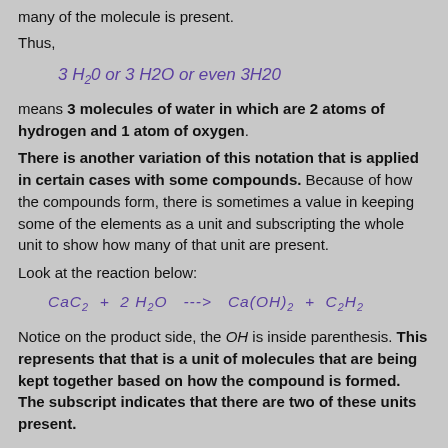many of the molecule is present.
Thus,
means 3 molecules of water in which are 2 atoms of hydrogen and 1 atom of oxygen.
There is another variation of this notation that is applied in certain cases with some compounds. Because of how the compounds form, there is sometimes a value in keeping some of the elements as a unit and subscripting the whole unit to show how many of that unit are present.
Look at the reaction below:
Notice on the product side, the OH is inside parenthesis. This represents that that is a unit of molecules that are being kept together based on how the compound is formed. The subscript indicates that there are two of these units present.